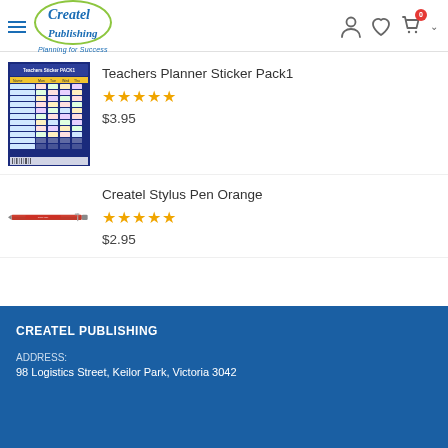Createl Publishing — Planning for Success
[Figure (screenshot): Teachers Planner Sticker Pack 1 product thumbnail — a colorful sticker sheet with a dark blue starry background and rows of colored label stickers]
Teachers Planner Sticker Pack1
★★★★★
$3.95
[Figure (photo): Createl Stylus Pen Orange — a red/orange stylus pen shown horizontally]
Createl Stylus Pen Orange
★★★★★
$2.95
CREATEL PUBLISHING
ADDRESS:
98 Logistics Street, Keilor Park, Victoria 3042